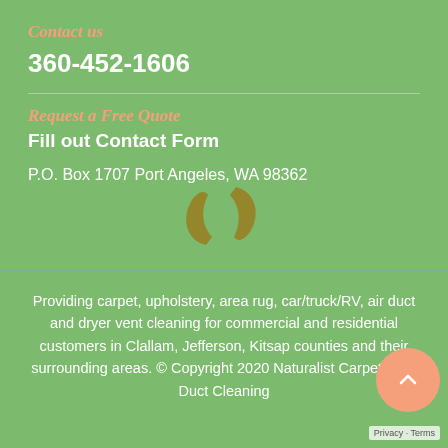Contact us
360-452-1606
Request a Free Quote
Fill out Contact Form
P.O. Box 1707 Port Angeles, WA 98362
[Figure (logo): Circular logo mark with two curved swoosh shapes in olive/dark yellow color on green background]
Providing carpet, upholstery, area rug, car/truck/RV, air duct and dryer vent cleaning for commercial and residential customers in Clallam, Jefferson, Kitsap counties and their surrounding areas. © Copyright 2020 Naturalist Carpet & Air Duct Cleaning